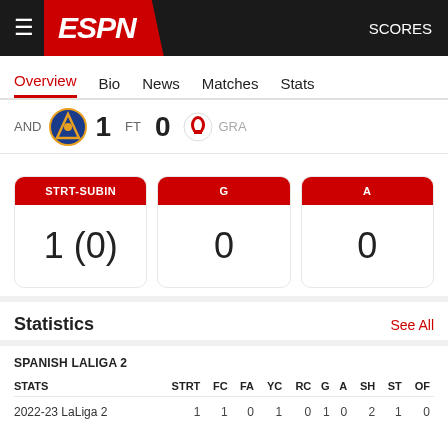ESPN  SCORES
Overview  Bio  News  Matches  Stats
AND  1  FT  0  GRA
STRT-SUBIN: 1 (0)  |  G: 0  |  A: 0
Statistics  See All
SPANISH LALIGA 2
| STATS | STRT | FC | FA | YC | RC | G | A | SH | ST | OF |
| --- | --- | --- | --- | --- | --- | --- | --- | --- | --- | --- |
| 2022-23 LaLiga 2 | 1 | 1 | 0 | 1 | 0 | 1 | 0 | 2 | 1 | 0 |